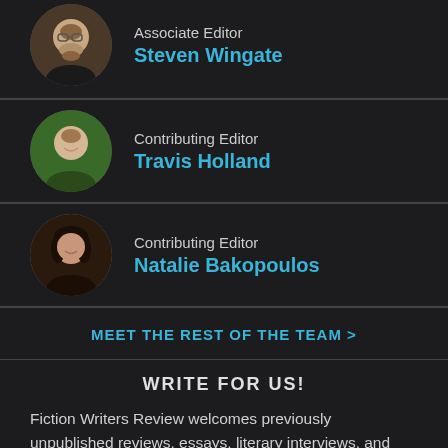[Figure (photo): Circular portrait photo of Steven Wingate, Associate Editor, older man with glasses and beard]
Associate Editor
Steven Wingate
[Figure (photo): Circular portrait photo of Travis Holland, Contributing Editor, man smiling outdoors]
Contributing Editor
Travis Holland
[Figure (photo): Circular portrait photo of Natalie Bakopoulos, Contributing Editor, woman with dark hair]
Contributing Editor
Natalie Bakopoulos
MEET THE REST OF THE TEAM >
WRITE FOR US!
Fiction Writers Review welcomes previously unpublished reviews, essays, literary interviews, and Shop Talk features from fiction writers, poets, graphic novelists, playwrights, and screenwriters. The editors